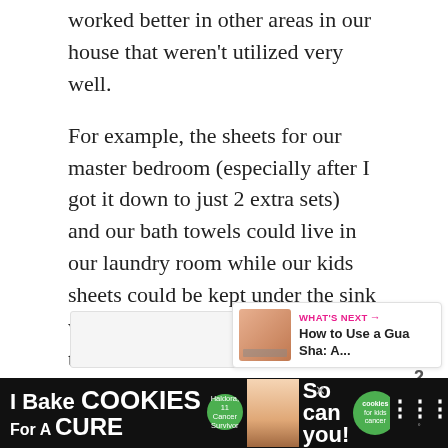worked better in other areas in our house that weren't utilized very well.
For example, the sheets for our master bedroom (especially after I got it down to just 2 extra sets) and our bath towels could live in our laundry room while our kids sheets could be kept under the sink while their towels could stay in their bathroom closet.
[Figure (screenshot): Social media sidebar with heart/like button showing count of 2, and a share button]
[Figure (infographic): What's Next promo card showing 'How to Use a Gua Sha: A...' with thumbnail image]
[Figure (screenshot): Advertisement banner: 'I Bake COOKIES For A CURE' with Haldora, 11 Cancer Survivor text and 'So can you!' with cookies for kids cancer logo, and a streaming service logo]